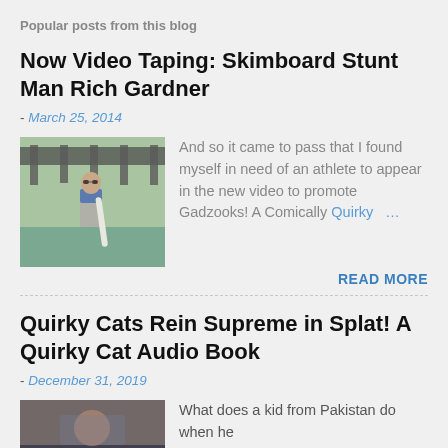Popular posts from this blog
Now Video Taping: Skimboard Stunt Man Rich Gardner
- March 25, 2014
[Figure (photo): Man standing outdoors with a skimboard, wearing sunglasses and a blue scarf]
And so it came to pass that I found myself in need of an athlete to appear in the new video to promote Gadzooks! A Comically Quirky …
READ MORE
Quirky Cats Rein Supreme in Splat! A Quirky Cat Audio Book
- December 31, 2019
[Figure (screenshot): Thumbnail image with text overlay reading CROTTEN THIS IS OUR]
What does a kid from Pakistan do when he